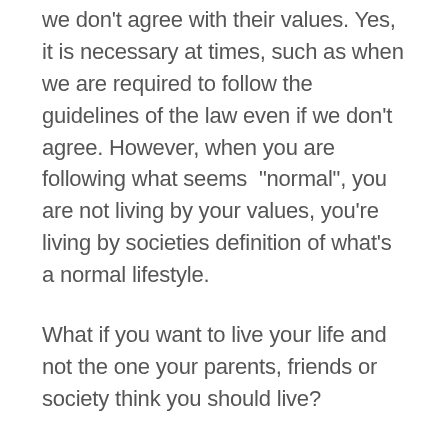we don't agree with their values. Yes, it is necessary at times, such as when we are required to follow the guidelines of the law even if we don't agree. However, when you are following what seems "normal", you are not living by your values, you're living by societies definition of what's a normal lifestyle.
What if you want to live your life and not the one your parents, friends or society think you should live?
Maybe you wanted to play the guitar and sing for a living or be an artist and so many people told you how that's not a job. It's so hard, ruthless and critical industry anyway, so you decided not to follow through with that idea. Instead